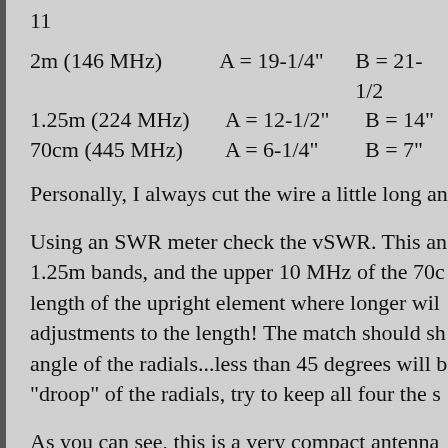2m (146 MHz)   A = 19-1/4"   B = 21-1/2"
1.25m (224 MHz)   A = 12-1/2"   B = 14"
70cm (445 MHz)   A = 6-1/4"   B = 7"
Personally, I always cut the wire a little long an
Using an SWR meter check the vSWR. This an 1.25m bands, and the upper 10 MHz of the 70c length of the upright element where longer wil adjustments to the length! The match should sh angle of the radials...less than 45 degrees will b “droop” of the radials, try to keep all four the s
As you can see, this is a very compact antenna mount the antenna, but when I’ve built these in